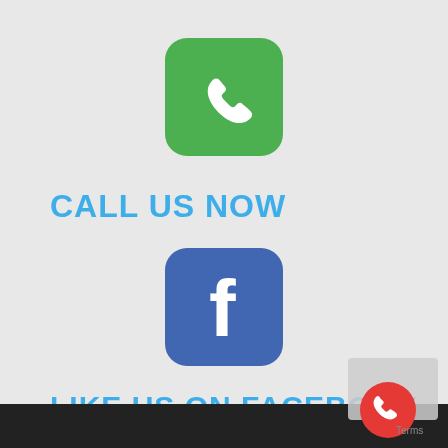[Figure (illustration): Green rounded-square phone icon (call icon) centered near the top of the page]
CALL US NOW
[Figure (illustration): Facebook rounded-square blue icon with white 'f' letter, centered in the middle of the page]
LIKE US ON FACEBOOK
[Figure (illustration): Red circular phone icon in the bottom-right corner overlay with a gray watermark box behind it and 'Terms' text]